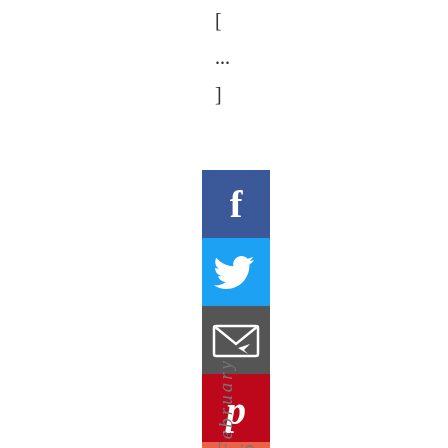[ ... ]
[Figure (infographic): Five social media share buttons stacked vertically: Facebook (blue), Twitter (light blue), Email/newsletter (dark gray), Pinterest (red), and Google+ or add button (orange-red)]
February 6